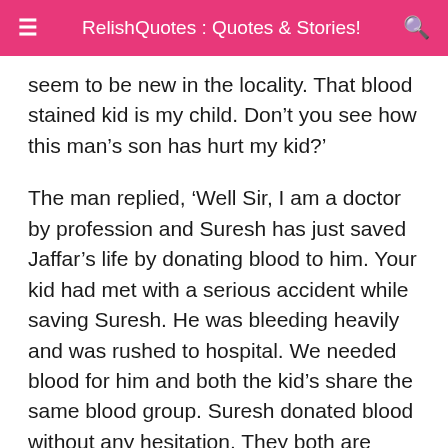RelishQuotes : Quotes & Stories!
seem to be new in the locality. That blood stained kid is my child. Don’t you see how this man’s son has hurt my kid?’
The man replied, ‘Well Sir, I am a doctor by profession and Suresh has just saved Jaffar’s life by donating blood to him. Your kid had met with a serious accident while saving Suresh. He was bleeding heavily and was rushed to hospital. We needed blood for him and both the kid’s share the same blood group. Suresh donated blood without any hesitation. They both are brave kids and share a great bonding.